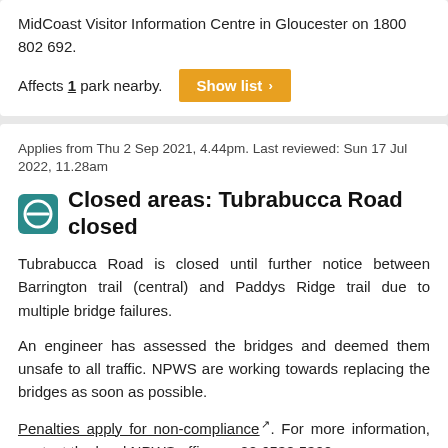MidCoast Visitor Information Centre in Gloucester on 1800 802 692.
Affects 1 park nearby.
Applies from Thu 2 Sep 2021, 4.44pm. Last reviewed: Sun 17 Jul 2022, 11.28am
Closed areas: Tubrabucca Road closed
Tubrabucca Road is closed until further notice between Barrington trail (central) and Paddys Ridge trail due to multiple bridge failures.
An engineer has assessed the bridges and deemed them unsafe to all traffic. NPWS are working towards replacing the bridges as soon as possible.
Penalties apply for non-compliance. For more information, contact the local NPWS office on 02 6538 5300.
Affects 1 park and 3 locations nearby.
Applies from Thu 9 Nov 2017, 9.59am. Last reviewed: Sun 17 Jul 2022, 11.28am